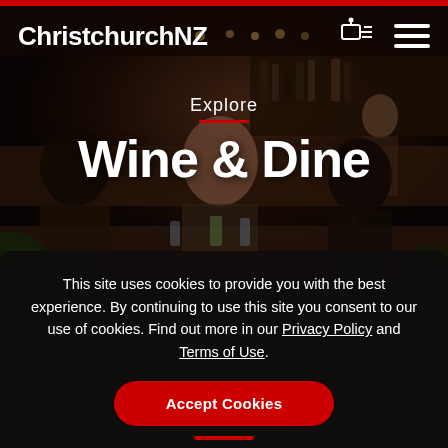ChristchurchNZ
[Figure (photo): Three friends sitting at a restaurant bar table, laughing and holding cocktails, with a dimly lit bar counter and shelves of bottles in the background]
Explore
Wine & Dine
This site uses cookies to provide you with the best experience. By continuing to use this site you consent to our use of cookies. Find out more in our Privacy Policy and Terms of Use.
Accept Cookies